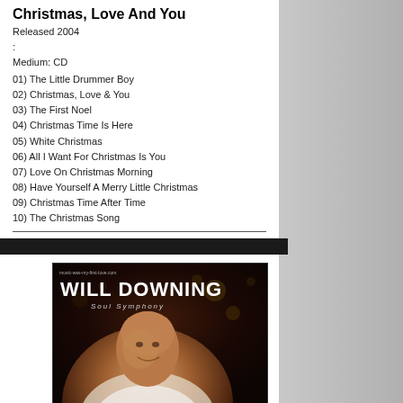Christmas, Love And You
Released 2004
:
Medium: CD
01) The Little Drummer Boy
02) Christmas, Love & You
03) The First Noel
04) Christmas Time Is Here
05) White Christmas
06) All I Want For Christmas Is You
07) Love On Christmas Morning
08) Have Yourself A Merry Little Christmas
09) Christmas Time After Time
10) The Christmas Song
Song 04) differs from the version on the album "Leading Men Of Christmas"
[Figure (photo): Album cover for Will Downing - Soul Symphony. Shows the artist's face and the album title text on a dark background.]